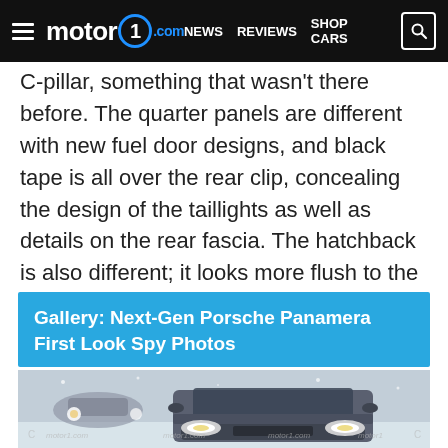motor1.com | NEWS  REVIEWS  SHOP CARS
C-pillar, something that wasn't there before. The quarter panels are different with new fuel door designs, and black tape is all over the rear clip, concealing the design of the taillights as well as details on the rear fascia. The hatchback is also different; it looks more flush to the body on these prototypes.
Gallery: Next-Gen Porsche Panamera First Look Spy Photos
[Figure (photo): Front-facing spy photo of the next-generation Porsche Panamera prototype in snowy conditions, with headlights on. Another vehicle visible in the background. Motor1.com watermarks visible.]